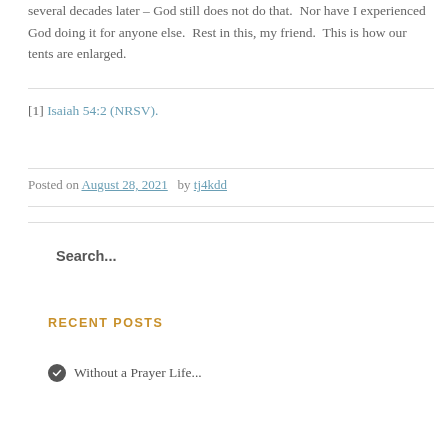several decades later – God still does not do that.  Nor have I experienced God doing it for anyone else.  Rest in this, my friend.  This is how our tents are enlarged.
[1] Isaiah 54:2 (NRSV).
Posted on August 28, 2021  by tj4kdd
Search...
RECENT POSTS
Without a Prayer Life...